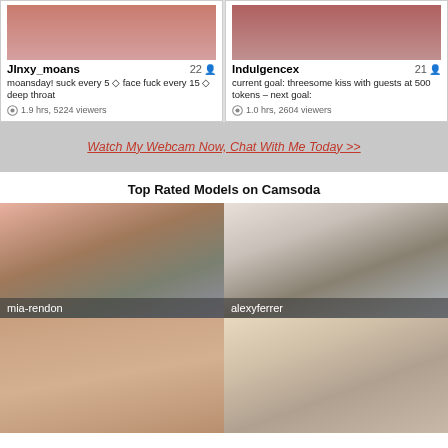[Figure (screenshot): Webcam model card for JInxy_moans, age 22, with description: moansday! suck every 5 ◊ face fuck every 15 ◊ deep throat, 1.9 hrs, 5224 viewers]
[Figure (screenshot): Webcam model card for Indulgencex, age 21, with description: current goal: threesome kiss with guests at 500 tokens – next goal:, 1.0 hrs, 2604 viewers]
Watch My Webcam Now, Chat With Me Today >>
Top Rated Models on Camsoda
[Figure (photo): Webcam thumbnail of mia-rendon, woman with long red hair in colorful outfit]
[Figure (photo): Webcam thumbnail of alexyferrer, woman with long blonde hair in black t-shirt]
[Figure (photo): Webcam thumbnail bottom left, close-up skin tone image]
[Figure (photo): Webcam thumbnail bottom right, blonde woman smiling in black outfit]